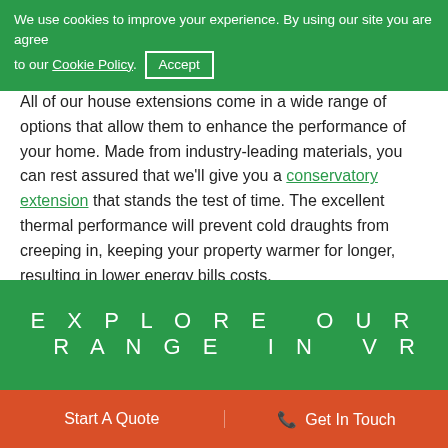We use cookies to improve your experience. By using our site you are agree to our Cookie Policy. Accept
All of our house extensions come in a wide range of options that allow them to enhance the performance of your home. Made from industry-leading materials, you can rest assured that we'll give you a conservatory extension that stands the test of time. The excellent thermal performance will prevent cold draughts from creeping in, keeping your property warmer for longer, resulting in lower energy bills costs.
For more information on our double glazing in Leamington Spa, you can get in touch with a member of our team today by giving us a call on 01926 754 044.
EXPLORE OUR RANGE IN VR
Start A Quote | Get In Touch